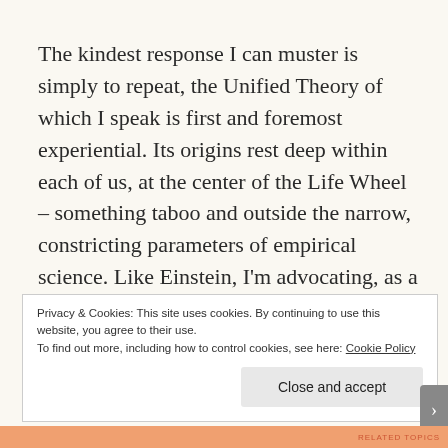The kindest response I can muster is simply to repeat, the Unified Theory of which I speak is first and foremost experiential. Its origins rest deep within each of us, at the center of the Life Wheel – something taboo and outside the narrow, constricting parameters of empirical science. Like Einstein, I'm advocating, as a matter of human survival, a substantial rethinking of this incomplete, dysfunctional paradigm.
Privacy & Cookies: This site uses cookies. By continuing to use this website, you agree to their use.
To find out more, including how to control cookies, see here: Cookie Policy
Close and accept